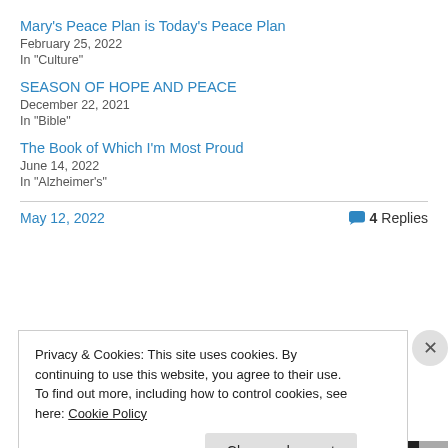Mary's Peace Plan is Today's Peace Plan
February 25, 2022
In "Culture"
SEASON OF HOPE AND PEACE
December 22, 2021
In "Bible"
The Book of Which I'm Most Proud
June 14, 2022
In "Alzheimer's"
May 12, 2022   💬 4 Replies
Privacy & Cookies: This site uses cookies. By continuing to use this website, you agree to their use. To find out more, including how to control cookies, see here: Cookie Policy
Close and accept